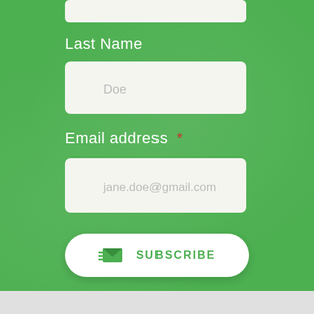[Figure (screenshot): Partial top input field (cropped at top)]
Last Name
Doe
Email address *
jane.doe@gmail.com
SUBSCRIBE